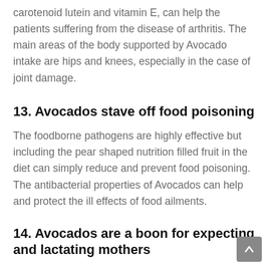carotenoid lutein and vitamin E, can help the patients suffering from the disease of arthritis. The main areas of the body supported by Avocado intake are hips and knees, especially in the case of joint damage.
13. Avocados stave off food poisoning
The foodborne pathogens are highly effective but including the pear shaped nutrition filled fruit in the diet can simply reduce and prevent food poisoning. The antibacterial properties of Avocados can help and protect the ill effects of food ailments.
14. Avocados are a boon for expecting and lactating mothers